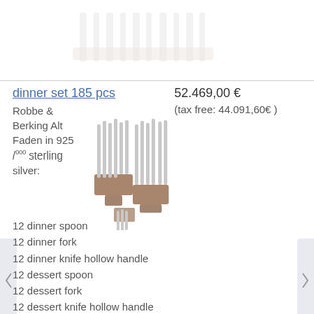[Figure (photo): Partial view of silver flatware/cutlery set on wooden block stand, top portion only visible]
dinner set 185 pcs
52.469,00 €
(tax free: 44.091,60€ )
[Figure (photo): Robbe & Berking Alt Faden 185-piece sterling silver flatware set displayed on wooden block stands]
Robbe & Berking Alt Faden in 925 /000 sterling silver:
12 dinner spoon
12 dinner fork
12 dinner knife hollow handle
12 dessert spoon
12 dessert fork
12 dessert knife hollow handle
12 coffee spoon
12 mocha spoon
12 pastry fork
12 ice cream spoon
12 bouillon / cream spoon
12 fish fork